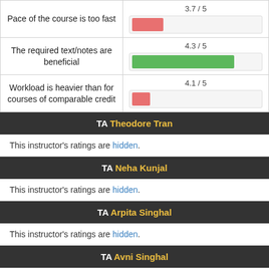| Question | Rating |
| --- | --- |
| Pace of the course is too fast | 3.7 / 5 |
| The required text/notes are beneficial | 4.3 / 5 |
| Workload is heavier than for courses of comparable credit | 4.1 / 5 |
TA Theodore Tran
This instructor's ratings are hidden.
TA Neha Kunjal
This instructor's ratings are hidden.
TA Arpita Singhal
This instructor's ratings are hidden.
TA Avni Singhal
This instructor's ratings are hidden.
TA Tiffany Chien
This instructor's ratings are hidden.
TA Emaan Hariri